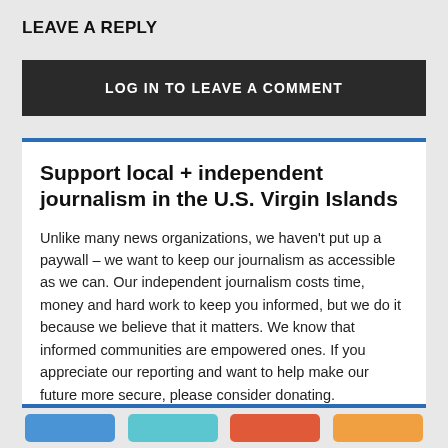LEAVE A REPLY
LOG IN TO LEAVE A COMMENT
Support local + independent journalism in the U.S. Virgin Islands
Unlike many news organizations, we haven't put up a paywall – we want to keep our journalism as accessible as we can. Our independent journalism costs time, money and hard work to keep you informed, but we do it because we believe that it matters. We know that informed communities are empowered ones. If you appreciate our reporting and want to help make our future more secure, please consider donating.
Donate via Paypal
Donate via Credit or Debit Card